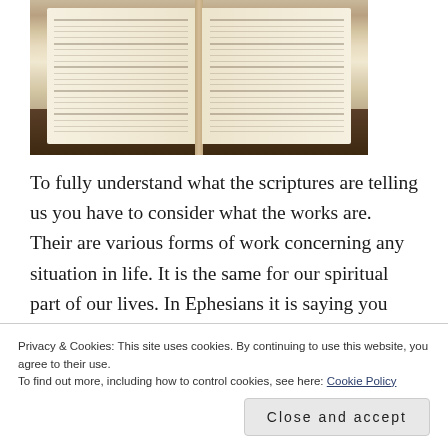[Figure (photo): An open Bible photographed from above on a wooden table. Both pages are visible with text columns, the spine in the center.]
To fully understand what the scriptures are telling us you have to consider what the works are. Their are various forms of work concerning any situation in life. It is the same for our spiritual part of our lives. In Ephesians it is saying you have to be saved through faith not by works
Privacy & Cookies: This site uses cookies. By continuing to use this website, you agree to their use.
To find out more, including how to control cookies, see here: Cookie Policy
Close and accept